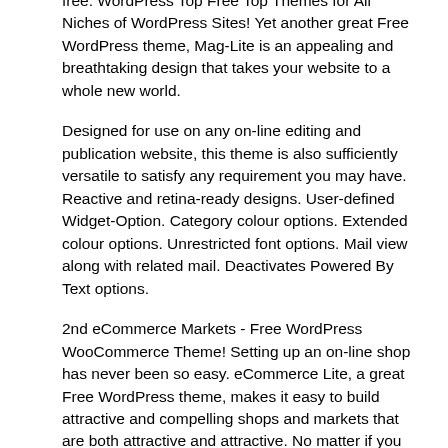free. WordPress Top Free Top Themes for All Niches of WordPress Sites! Yet another great Free WordPress theme, Mag-Lite is an appealing and breathtaking design that takes your website to a whole new world.
Designed for use on any on-line editing and publication website, this theme is also sufficiently versatile to satisfy any requirement you may have. Reactive and retina-ready designs. User-defined Widget-Option. Category colour options. Extended colour options. Unrestricted font options. Mail view along with related mail. Deactivates Powered By Text options.
2nd eCommerce Markets - Free WordPress WooCommerce Theme! Setting up an on-line shop has never been so easy. eCommerce Lite, a great Free WordPress theme, makes it easy to build attractive and compelling shops and markets that are both attractive and attractive. No matter if you own a jewellery shop, a clothing shop, a supermarket or a cosmetic department, this topic is perfectly suited for any kind of online-based shop and supermarket-website.
Since it is compliant with the WooCommerce standard plug-ins, this theme offers a simpler way to pay on your website. Fast